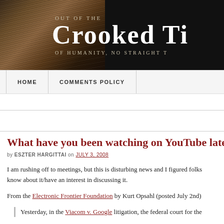[Figure (screenshot): Blog header banner with dark background and wood texture image on the left. Text reads 'Out of the' above large bold white text 'CROOKED T' (cropped) and 'OF HUMANITY, NO STRAIGHT T' (cropped) below, on black background.]
HOME   COMMENTS POLICY
What have you been watching on YouTube late
by ESZTER HARGITTAI on JULY 3, 2008
I am rushing off to meetings, but this is disturbing news and I figured folks know about it/have an interest in discussing it.
From the Electronic Frontier Foundation by Kurt Opsahl (posted July 2nd)
Yesterday, in the Viacom v. Google litigation, the federal court for the